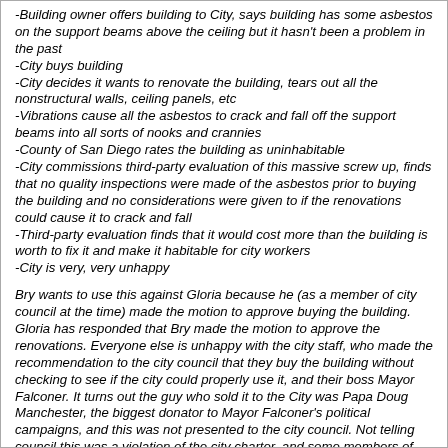-Building owner offers building to City, says building has some asbestos on the support beams above the ceiling but it hasn't been a problem in the past
-City buys building
-City decides it wants to renovate the building, tears out all the nonstructural walls, ceiling panels, etc
-Vibrations cause all the asbestos to crack and fall off the support beams into all sorts of nooks and crannies
-County of San Diego rates the building as uninhabitable
-City commissions third-party evaluation of this massive screw up, finds that no quality inspections were made of the asbestos prior to buying the building and no considerations were given to if the renovations could cause it to crack and fall
-Third-party evaluation finds that it would cost more than the building is worth to fix it and make it habitable for city workers
-City is very, very unhappy
Bry wants to use this against Gloria because he (as a member of city council at the time) made the motion to approve buying the building. Gloria has responded that Bry made the motion to approve the renovations. Everyone else is unhappy with the city staff, who made the recommendation to the city council that they buy the building without checking to see if the city could properly use it, and their boss Mayor Falconer. It turns out the guy who sold it to the City was Papa Doug Manchester, the biggest donator to Mayor Falconer's political campaigns, and this was not presented to the city council. Not telling council this was a violation of the city charter, and some members of the council say this makes the